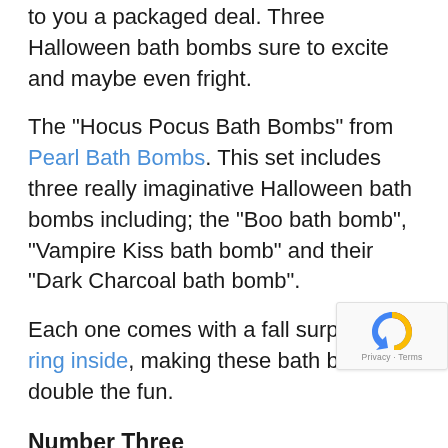to you a packaged deal. Three Halloween bath bombs sure to excite and maybe even fright.
The "Hocus Pocus Bath Bombs" from Pearl Bath Bombs. This set includes three really imaginative Halloween bath bombs including; the "Boo bath bomb", "Vampire Kiss bath bomb" and their "Dark Charcoal bath bomb".
Each one comes with a fall surprise, a ring inside, making these bath bombs double the fun.
Number Three